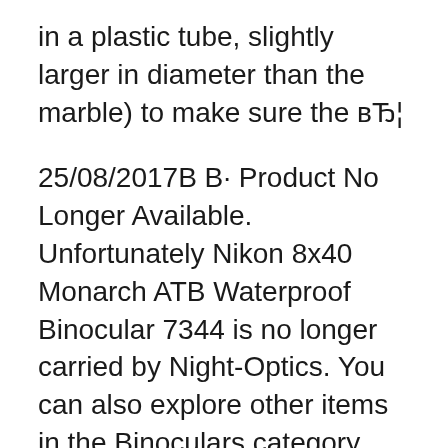in a plastic tube, slightly larger in diameter than the marble) to make sure the вЂ¦
25/08/2017В В· Product No Longer Available. Unfortunately Nikon 8x40 Monarch ATB Waterproof Binocular 7344 is no longer carried by Night-Optics. You can also explore other items in the Binoculars category yourself to try and find the perfect replacement for you! Waterproof (up to 1m for 5 minutes) and fog-free with nitrogen gas filling High-eyepoint design provides a clear field of view even for eyeglass wearers Turn-and-slide rubber eyecups with multi-click facilitate easy positioning of eyes at the correct eyepoint Multilayer-coated lenses and large objective diameter for optimal image